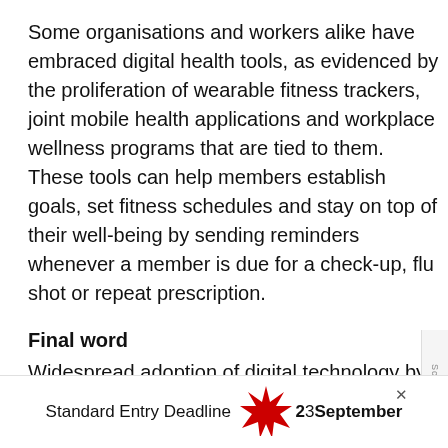Some organisations and workers alike have embraced digital health tools, as evidenced by the proliferation of wearable fitness trackers, joint mobile health applications and workplace wellness programs that are tied to them. These tools can help members establish goals, set fitness schedules and stay on top of their well-being by sending reminders whenever a member is due for a check-up, flu shot or repeat prescription.
Final word
Widespread adoption of digital technology by businesses and the health and well-being industry has been accelerating for years, and that
Standard Entry Deadline 23 September